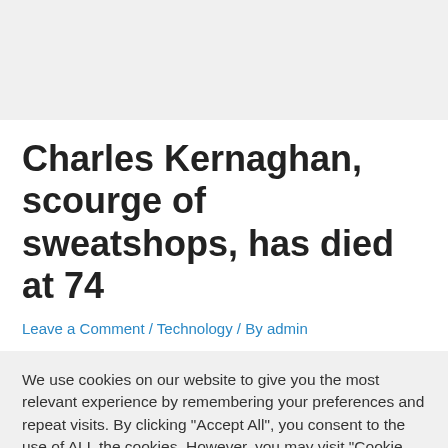Charles Kernaghan, scourge of sweatshops, has died at 74
Leave a Comment / Technology / By admin
We use cookies on our website to give you the most relevant experience by remembering your preferences and repeat visits. By clicking "Accept All", you consent to the use of ALL the cookies. However, you may visit "Cookie Settings" to provide a controlled consent.
Cookie Settings | Accept All